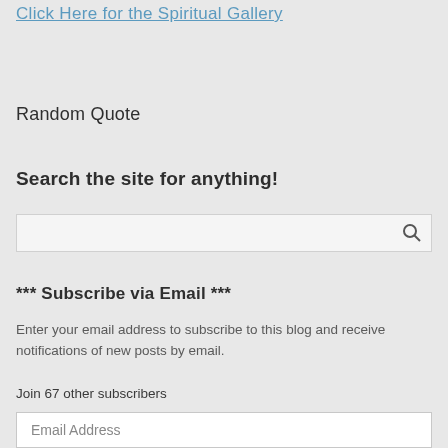Click Here for the Spiritual Gallery
Random Quote
Search the site for anything!
[Figure (other): Search input box with magnifying glass icon]
*** Subscribe via Email ***
Enter your email address to subscribe to this blog and receive notifications of new posts by email.
Join 67 other subscribers
[Figure (other): Email Address input field]